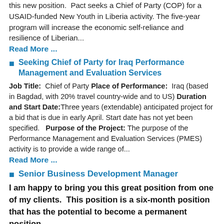this new position.  Pact seeks a Chief of Party (COP) for a USAID-funded New Youth in Liberia activity. The five-year program will increase the economic self-reliance and resilience of Liberian...
Read More ...
Seeking Chief of Party for Iraq Performance Management and Evaluation Services
Job Title:  Chief of Party Place of Performance:  Iraq (based in Bagdad, with 20% travel country-wide and to US) Duration and Start Date:Three years (extendable) anticipated project for a bid that is due in early April. Start date has not yet been specified.   Purpose of the Project: The purpose of the Performance Management and Evaluation Services (PMES) activity is to provide a wide range of...
Read More ...
Senior Business Development Manager
I am happy to bring you this great position from one of my clients.  This position is a six-month position that has the potential to become a permanent position.